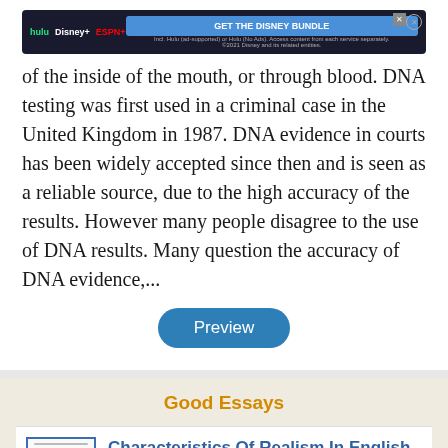[Figure (screenshot): Disney Bundle advertisement banner with Hulu, Disney+, ESPN+ logos and 'GET THE DISNEY BUNDLE' call-to-action button]
of the inside of the mouth, or through blood. DNA testing was first used in a criminal case in the United Kingdom in 1987. DNA evidence in courts has been widely accepted since then and is seen as a reliable source, due to the high accuracy of the results. However many people disagree to the use of DNA results. Many question the accuracy of DNA evidence,...
Preview
Good Essays
Characteristics Of Realism In English Literature